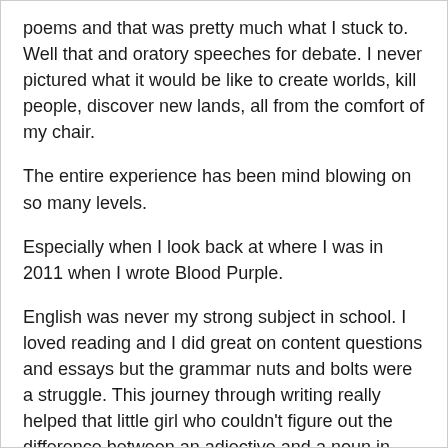poems and that was pretty much what I stuck to. Well that and oratory speeches for debate. I never pictured what it would be like to create worlds, kill people, discover new lands, all from the comfort of my chair.
The entire experience has been mind blowing on so many levels.
Especially when I look back at where I was in 2011 when I wrote Blood Purple.
English was never my strong subject in school. I loved reading and I did great on content questions and essays but the grammar nuts and bolts were a struggle. This journey through writing really helped that little girl who couldn't figure out the difference between an adjective and a noun in elementary is rejoicing because now, while yes the nuts and bolts still are a struggle, I have learned to overcome it!
Conquering ones fear is am amazing deal, one that more of us should be doing. One that I should have done a long time ago.